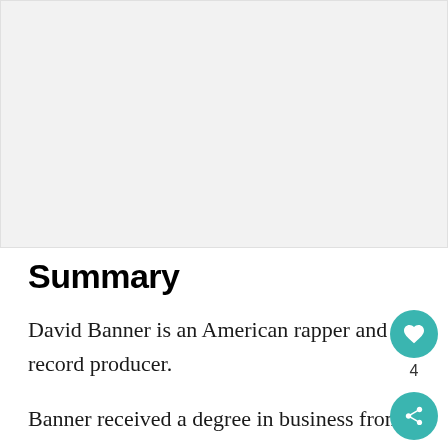[Figure (photo): Large image placeholder area at top of page, light gray background]
Summary
David Banner is an American rapper and record producer.
Banner received a degree in business from